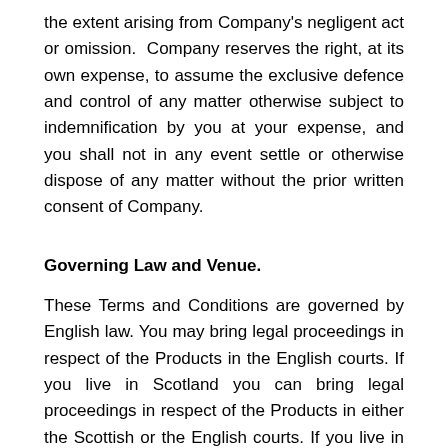the extent arising from Company's negligent act or omission.  Company reserves the right, at its own expense, to assume the exclusive defence and control of any matter otherwise subject to indemnification by you at your expense, and you shall not in any event settle or otherwise dispose of any matter without the prior written consent of Company.
Governing Law and Venue.
These Terms and Conditions are governed by English law. You may bring legal proceedings in respect of the Products in the English courts. If you live in Scotland you can bring legal proceedings in respect of the Products in either the Scottish or the English courts. If you live in Northern Ireland you can bring legal proceedings in respect of the Products in either the Northern Irish or the English courts.
Site Operation.
The Site is operated by Company from its offices in the United Kingdom.